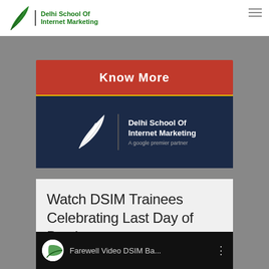Delhi School Of Internet Marketing
[Figure (screenshot): Red banner with 'Know More' button and small label text]
[Figure (logo): Delhi School Of Internet Marketing dark blue banner with white feather logo and text 'A google premier partner']
Watch DSIM Trainees Celebrating Last Day of Batch
[Figure (screenshot): Video thumbnail showing 'Farewell Video DSIM Ba...' with DSIM logo circle on dark background]